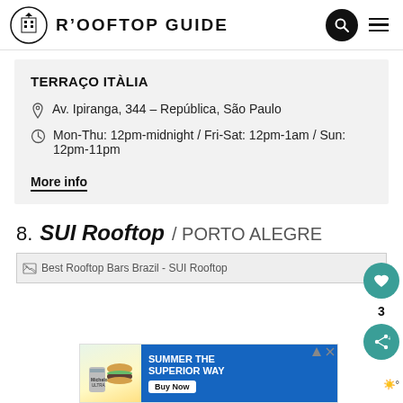The Rooftop Guide
TERRAÇO ITÀLIA
Av. Ipiranga, 344 – República, São Paulo
Mon-Thu: 12pm-midnight / Fri-Sat: 12pm-1am / Sun: 12pm-11pm
More info
8. SUI Rooftop / PORTO ALEGRE
[Figure (screenshot): Broken image placeholder for Best Rooftop Bars Brazil - SUI Rooftop]
[Figure (screenshot): Advertisement banner: Summer The Superior Way - Buy Now, featuring food and Michelob Ultra beer]